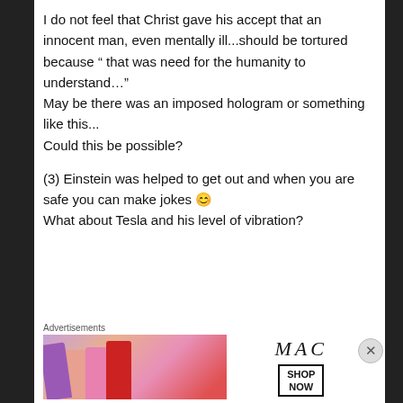I do not feel that Christ gave his accept that an innocent man, even mentally ill...should be tortured because “ that was need for the humanity to understand…”
May be there was an imposed hologram or something like this...
Could this be possible?
(3) Einstein was helped to get out and when you are safe you can make jokes 😊
What about Tesla and his level of vibration?
Advertisements
[Figure (photo): MAC cosmetics advertisement showing lipsticks on the left and MAC logo with SHOP NOW text on the right]